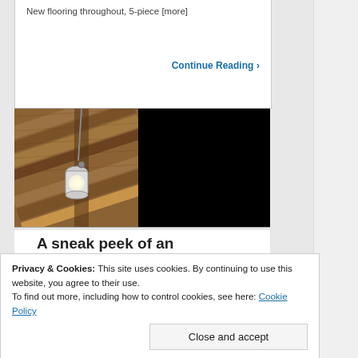New flooring throughout, 5-piece [more]
Continue Reading ›
[Figure (photo): Left half shows a wood-paneled ceiling with a hanging lantern light fixture. Right half is solid black (redacted or unloaded image).]
A sneak peek of an
#nhdigj #grandjunction #hawksnest #lighting
Privacy & Cookies: This site uses cookies. By continuing to use this website, you agree to their use.
To find out more, including how to control cookies, see here: Cookie Policy
Close and accept